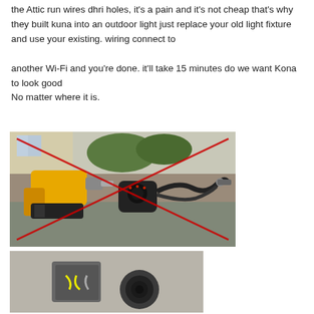the Attic run wires dhri holes, it's a pain and it's not cheap that's why they built kuna into an outdoor light just replace your old light fixture and use your existing. wiring connect to

another Wi-Fi and you're done. it'll take 15 minutes do we want Kona to look good
No matter where it is.
[Figure (photo): Photo of a yellow power drill and a black security camera with cables on a gray surface, with a large red X drawn over them indicating these tools/items are not needed.]
[Figure (photo): Photo showing a wall outlet or electrical junction box with wiring, partially visible, suggesting installation work.]